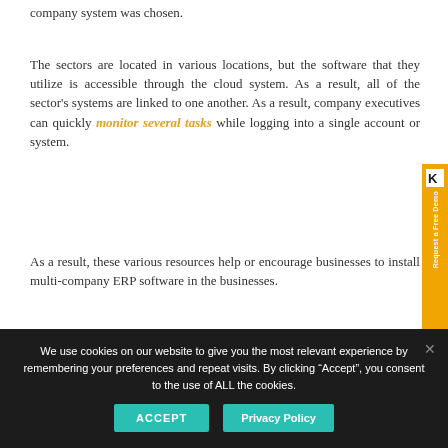company system was chosen.
The sectors are located in various locations, but the software that they utilize is accessible through the cloud system. As a result, all of the sector's systems are linked to one another. As a result, company executives can quickly monitor several tasks while logging into a single account or system.
As a result, these various resources help or encourage businesses to install multi-company ERP software in the businesses.
We use cookies on our website to give you the most relevant experience by remembering your preferences and repeat visits. By clicking “Accept”, you consent to the use of ALL the cookies.